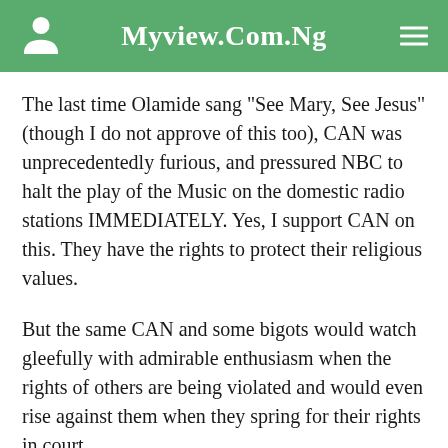Myview.Com.Ng
The last time Olamide sang “See Mary, See Jesus”(though I do not approve of this too), CAN was unprecedentedly furious, and pressured NBC to halt the play of the Music on the domestic radio stations IMMEDIATELY. Yes, I support CAN on this. They have the rights to protect their religious values.
But the same CAN and some bigots would watch gleefully with admirable enthusiasm when the rights of others are being violated and would even rise against them when they spring for their rights in court.
We do not accept that Jesus (Peace be Upon him) would approve of injustice to others, and as hope many people